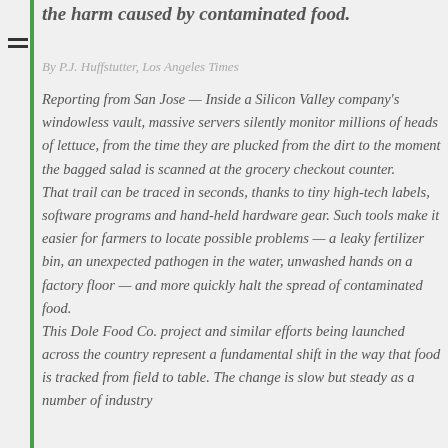the harm caused by contaminated food.
By P.J. Huffstutter, Los Angeles Times
Reporting from San Jose — Inside a Silicon Valley company's windowless vault, massive servers silently monitor millions of heads of lettuce, from the time they are plucked from the dirt to the moment the bagged salad is scanned at the grocery checkout counter. That trail can be traced in seconds, thanks to tiny high-tech labels, software programs and hand-held hardware gear. Such tools make it easier for farmers to locate possible problems — a leaky fertilizer bin, an unexpected pathogen in the water, unwashed hands on a factory floor — and more quickly halt the spread of contaminated food. This Dole Food Co. project and similar efforts being launched across the country represent a fundamental shift in the way that food is tracked from field to table. The change is slow but steady as a number of industry